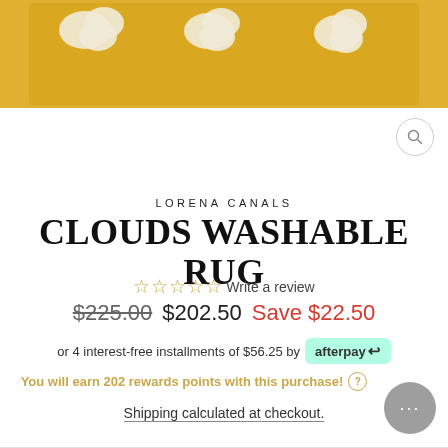[Figure (photo): Yellow/golden washable rug with white cloud pattern, cropped top view]
LORENA CANALS
CLOUDS WASHABLE RUG
☆☆☆☆☆ Write a review
$225.00  $202.50  Save $22.50
or 4 interest-free installments of $56.25 by afterpay
You will earn 202 rewards points with this purchase!
Shipping calculated at checkout.